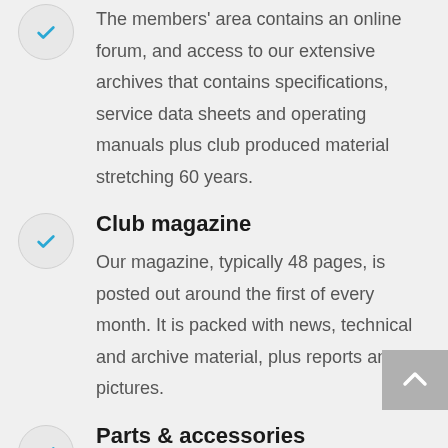The members' area contains an online forum, and access to our extensive archives that contains specifications, service data sheets and operating manuals plus club produced material stretching 60 years.
Club magazine
Our magazine, typically 48 pages, is posted out around the first of every month. It is packed with news, technical and archive material, plus reports and pictures.
Parts & accessories